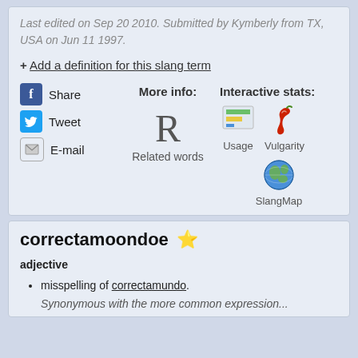Last edited on Sep 20 2010. Submitted by Kymberly from TX, USA on Jun 11 1997.
+ Add a definition for this slang term
[Figure (infographic): Social sharing buttons (Facebook Share, Tweet, E-mail), More info section with R for Related words, Interactive stats section with Usage bar chart icon, Vulgarity chili icon, and SlangMap globe icon]
correctamoondoe ⭐
adjective
misspelling of correctamundo.
Synonymous with the more common expression...